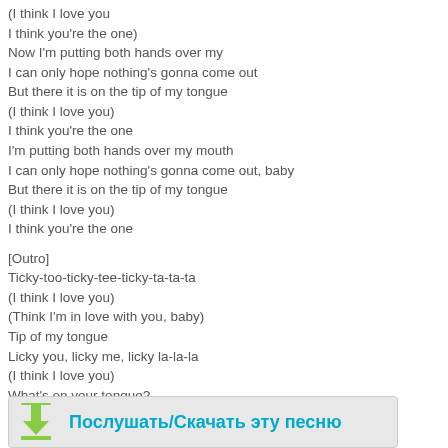(I think I love you
I think you're the one)
Now I'm putting both hands over my
I can only hope nothing's gonna come out
But there it is on the tip of my tongue
(I think I love you)
I think you're the one
I'm putting both hands over my mouth
I can only hope nothing's gonna come out, baby
But there it is on the tip of my tongue
(I think I love you)
I think you're the one
[Outro]
Ticky-too-ticky-tee-ticky-ta-ta-ta
(I think I love you)
(Think I'm in love with you, baby)
Tip of my tongue
Licky you, licky me, licky la-la-la
(I think I love you)
What's on your tongue?
Ticky-too-ticky-tee-ticky-ta-ta-ta
(I think I love you)
I should bite my tongue
Licky you, licky me, licky la-la-la
(I think I love you)
I think you're the one
Послушать/Скачать эту песню